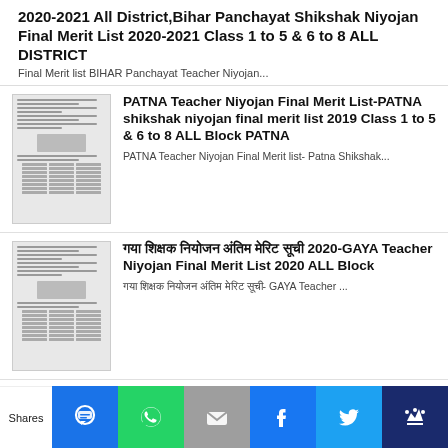2020-2021 All District,Bihar Panchayat Shikshak Niyojan Final Merit List 2020-2021 Class 1 to 5 & 6 to 8 ALL DISTRICT
Final Merit list BIHAR Panchayat Teacher Niyojan...
PATNA Teacher Niyojan Final Merit List-PATNA shikshak niyojan final merit list 2019 Class 1 to 5 & 6 to 8 ALL Block PATNA
PATNA Teacher Niyojan Final Merit list- Patna Shikshak...
गया शिक्षक नियोजन अंतिम मेरिट सूची 2020-GAYA Teacher Niyojan Final Merit List 2020 ALL Block
गया शिक्षक नियोजन अंतिम मेरिट सूची- GAYA Teacher ...
DARBHANGA Teacher Niyojan Final Merit List-DARBHANGA shikshak niyojan Final merit list 2019 Class 1 to 5 & 6 to 8 ALL Block DARBHANGA
DARBHANGA Teacher Niyojan Final Merit List-DARBHANGA...